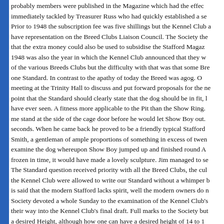probably members were published in the Magazine which had the effect of... immediately tackled by Treasurer Russ who had quickly established a se... Prior to 1948 the subscription fee was five shillings but the Kennel Club a... have representation on the Breed Clubs Liaison Council. The Society the... that the extra money could also be used to subsidise the Stafford Magaz... 1948 was also the year in which the Kennel Club announced that they w... of the various Breeds Clubs but the difficulty with that was that some Bre... one Standard. In contrast to the apathy of today the Breed was agog. O... meeting at the Trinity Hall to discuss and put forward proposals for the ne... point that the Standard should clearly state that the dog should be in fit, l... have ever seen. A fitness more applicable to the Pit than the Show Ring.... me stand at the side of the cage door before he would let Show Boy out.... seconds. When he came back he proved to be a friendly typical Stafford... Smith, a gentleman of ample proportions of something in excess of twen... examine the dog whereupon Show Boy jumped up and finished round A... frozen in time, it would have made a lovely sculpture. Jim managed to se... The Standard question received priority with all the Breed Clubs, the cul... the Kennel Club were allowed to write our Standard without a whimper b... is said that the modern Stafford lacks spirit, well the modern owners do n... Society devoted a whole Sunday to the examination of the Kennel Club's... their way into the Kennel Club's final draft. Full marks to the Society but... a desired Height, although how one can have a desired height of 14 to 1... After the Standard meeting at Wolverhampton there was an adjournmen... Council. This resulted in unanimous agreement and Nap Cairns was ele... vetoed it, claiming it contravened a Kennel Club rule, recently brought in...